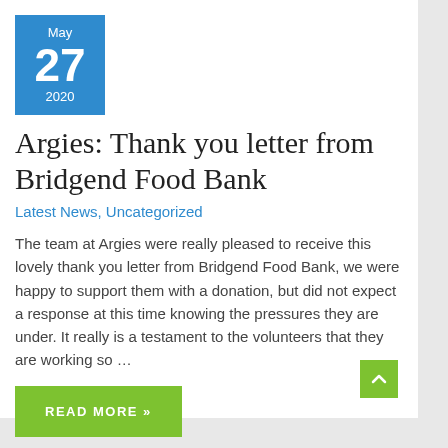[Figure (other): Blue calendar date box showing May 27 2020]
Argies: Thank you letter from Bridgend Food Bank
Latest News, Uncategorized
The team at Argies were really pleased to receive this lovely thank you letter from Bridgend Food Bank, we were happy to support them with a donation, but did not expect a response at this time knowing the pressures they are under. It really is a testament to the volunteers that they are working so …
READ MORE »